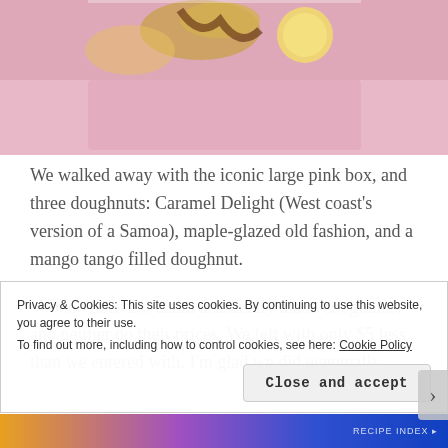[Figure (photo): Close-up photo of colorful doughnuts with golden decorations on a pink background, partially cropped at the top of the page.]
We walked away with the iconic large pink box, and three doughnuts: Caramel Delight (West coast's version of a Samoa), maple-glazed old fashion, and a mango tango filled doughnut.
Voodoo does not claim artisanally made doughnuts, and neither do their prices. We left with only $5 less than we entered with. I'm glad we did eventually
Privacy & Cookies: This site uses cookies. By continuing to use this website, you agree to their use.
To find out more, including how to control cookies, see here: Cookie Policy
Close and accept